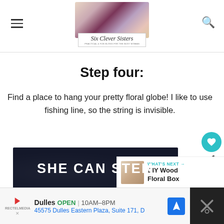Six Clever Sisters
Step four:
Find a place to hang your pretty floral globe! I like to use fishing line, so the string is invisible.
[Figure (photo): SHE CAN STEM advertisement banner - dark background with bold white text]
WHAT'S NEXT → DIY Wood Floral Box
[Figure (infographic): Advertisement: Dulles OPEN 10AM-8PM, 45575 Dulles Eastern Plaza, Suite 171, D]